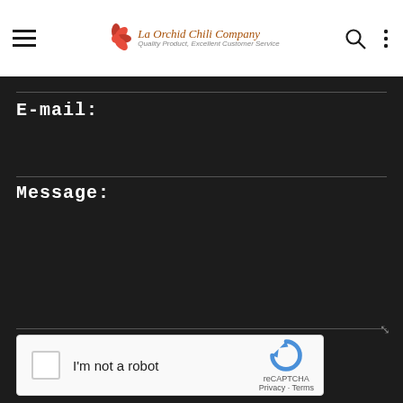La Orchid Chili Company — Quality Product, Excellent Customer Service
E-mail:
Message:
[Figure (other): reCAPTCHA widget with checkbox labeled 'I'm not a robot' and Google reCAPTCHA logo with Privacy and Terms links]